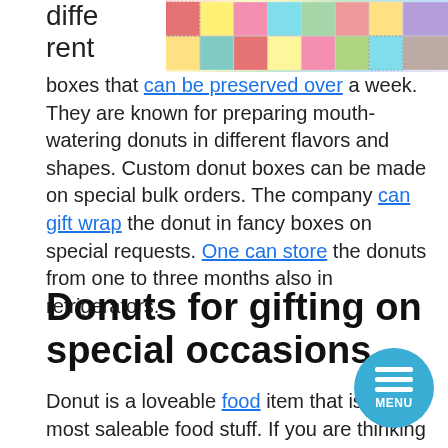[Figure (photo): Colorful patchwork quilt fabric in various patterns and colors, partially visible at the top of the page]
different boxes that can be preserved over a week. They are known for preparing mouth-watering donuts in different flavors and shapes. Custom donut boxes can be made on special bulk orders. The company can gift wrap the donut in fancy boxes on special requests. One can store the donuts from one to three months also in refrigerators.
Donuts for gifting on special occasions
Donut is a loveable food item that is the most saleable food stuff. If you are thinking of gifting sweets on birthdays or special occasions such as Easter or Christmas, donuts can be a good option. Millions of donuts are sold everyday and gifted by people to their